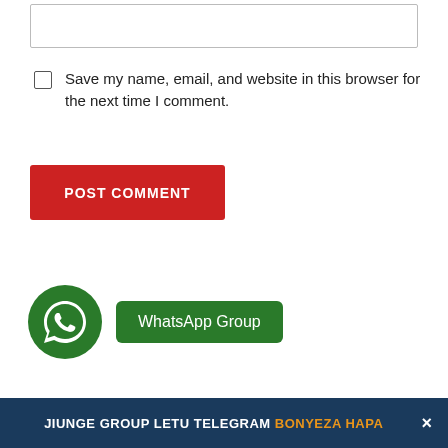[Figure (screenshot): Text input box (form field)]
Save my name, email, and website in this browser for the next time I comment.
POST COMMENT
[Figure (logo): WhatsApp group button with WhatsApp icon and green button labeled 'WhatsApp Group']
JIUNGE GROUP LETU TELEGRAM BONYEZA HAPA ×